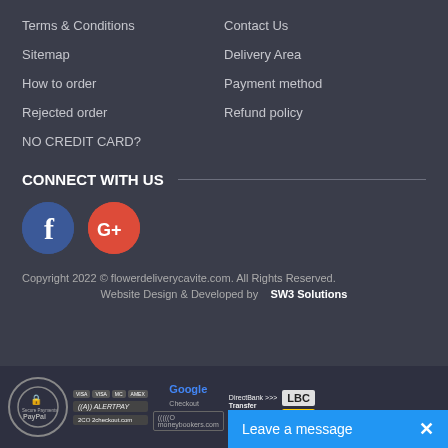Terms & Conditions
Sitemap
How to order
Rejected order
NO CREDIT CARD?
Contact Us
Delivery Area
Payment method
Refund policy
CONNECT WITH US
[Figure (logo): Facebook circular icon]
[Figure (logo): Google Plus circular icon]
Copyright 2022 © flowerdeliverycavite.com. All Rights Reserved.
Website Design & Developed by   SW3 Solutions
[Figure (logo): Payment method logos: PayPal, credit cards, AlertPay, 2Checkout, Google Checkout, moneybookers, DirectBank Transfer, LBC, DHL]
Leave a message  ×